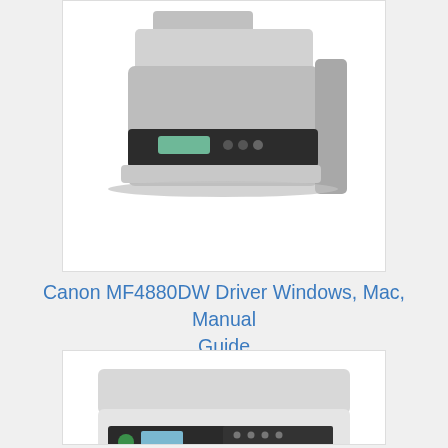[Figure (photo): Canon MF4880DW laser multifunction printer, black and grey, viewed from front-left angle]
Canon MF4880DW Driver Windows, Mac, Manual Guide
[Figure (photo): Canon MX340 inkjet multifunction printer/fax, white and black, viewed from front-top angle]
Canon MX340 Driver Windows, Mac, Manual Guide
[Figure (photo): Canon printer, partially visible at bottom of page, black]